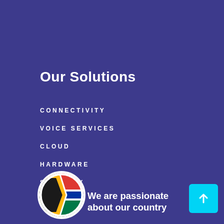Our Solutions
CONNECTIVITY
VOICE SERVICES
CLOUD
HARDWARE
SECURITY
[Figure (illustration): South African flag in a circular white-bordered frame]
We are passionate about our country